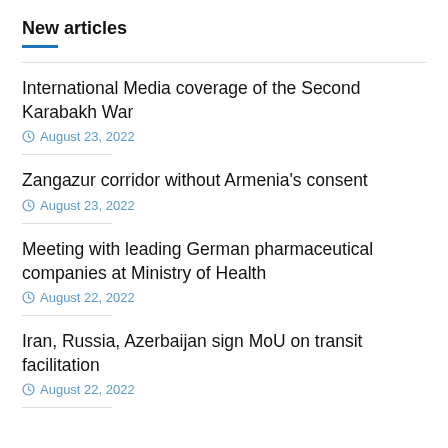New articles
International Media coverage of the Second Karabakh War
August 23, 2022
Zangazur corridor without Armenia's consent
August 23, 2022
Meeting with leading German pharmaceutical companies at Ministry of Health
August 22, 2022
Iran, Russia, Azerbaijan sign MoU on transit facilitation
August 22, 2022